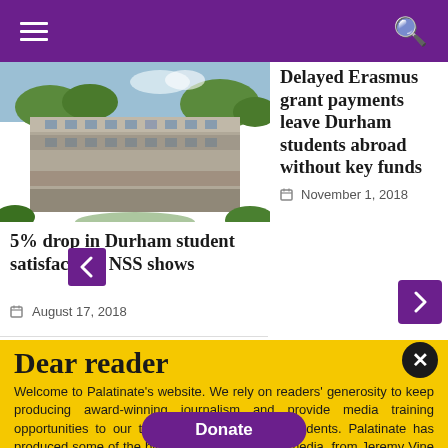Navigation bar with hamburger menu and search icon
[Figure (photo): Photograph of a university building (Brutalist architecture) surrounded by trees]
5% drop in Durham student satisfaction, NSS shows
August 17, 2018
Delayed Erasmus grant payments leave Durham students abroad without key funds
November 1, 2018
Dear reader
Welcome to Palatinate's website. We rely on readers' generosity to keep producing award-winning journalism and provide media training opportunities to our team of more than 150 students. Palatinate has produced some of the biggest names in British media, from Jeremy Vine to the late great Sir Harold Evans. Every contribution to Palatinate is an investment into the future of journalism.